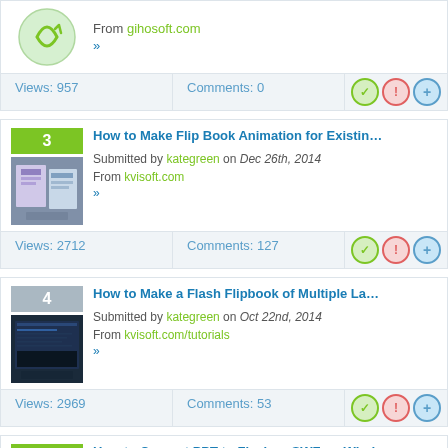[Figure (screenshot): Partial listing card showing icon from gihosoft.com with Views: 957, Comments: 0]
From gihosoft.com
Views: 957  Comments: 0
3  How to Make Flip Book Animation for Existing... Submitted by kategreen on Dec 26th, 2014 From kvisoft.com  Views: 2712  Comments: 127
4  How to Make a Flash Flipbook of Multiple La... Submitted by kategreen on Oct 22nd, 2014 From kvisoft.com/tutorials  Views: 2969  Comments: 53
5  How to Convert PPT to Flash or SWF on Wind... Submitted by kategreen on Aug 14th, 2014 From kvisoft.com  Views: 3384  Comments: 13